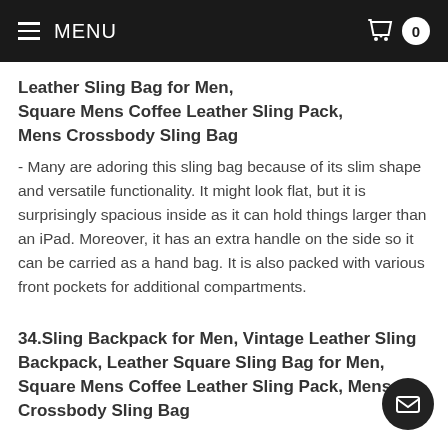MENU  0
Leather Sling Bag for Men,
Square Mens Coffee Leather Sling Pack,
Mens Crossbody Sling Bag
- Many are adoring this sling bag because of its slim shape and versatile functionality. It might look flat, but it is surprisingly spacious inside as it can hold things larger than an iPad. Moreover, it has an extra handle on the side so it can be carried as a hand bag. It is also packed with various front pockets for additional compartments.
34.Sling Backpack for Men, Vintage Leather Sling Backpack, Leather Square Sling Bag for Men, Square Mens Coffee Leather Sling Pack, Mens Crossbody Sling Bag